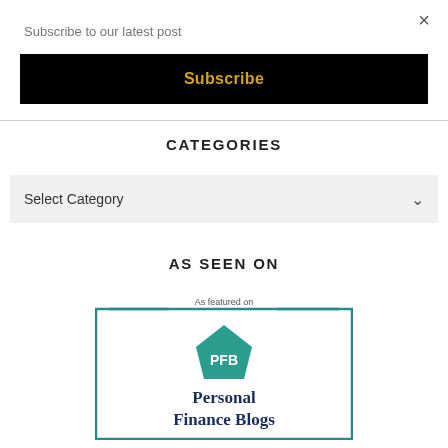Subscribe to our latest post
×
Subscribe
CATEGORIES
Select Category
AS SEEN ON
[Figure (logo): Personal Finance Blogs badge — teal bordered rectangle with 'As featured on' text at top, teal diamond PFB logo, and 'Personal Finance Blogs' text in dark blue serif font below.]